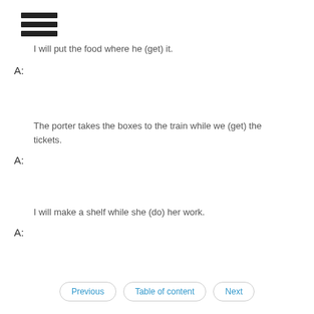[Figure (other): Hamburger menu icon with three horizontal bars]
I will put the food where he (get) it.
A:
The porter takes the boxes to the train while we (get) the tickets.
A:
I will make a shelf while she (do) her work.
A:
Previous   Table of content   Next